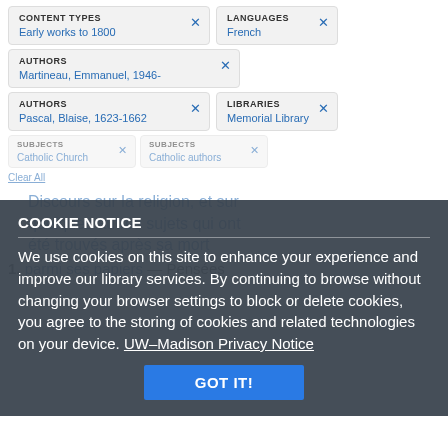CONTENT TYPES
Early works to 1800
LANGUAGES
French
AUTHORS
Martineau, Emmanuel, 1946-
AUTHORS
Pascal, Blaise, 1623-1662
LIBRARIES
Memorial Library
SUBJECTS
Catholic Church
SUBJECTS
Catholic authors
Clear All
Discours sur la religion, et sur quelques autres sujets qui ont été trouvés après sa mort
1. parmi ses papiers — Pensées
COOKIE NOTICE
We use cookies on this site to enhance your experience and improve our library services. By continuing to browse without changing your browser settings to block or delete cookies, you agree to the storing of cookies and related technologies on your device. UW–Madison Privacy Notice
GOT IT!